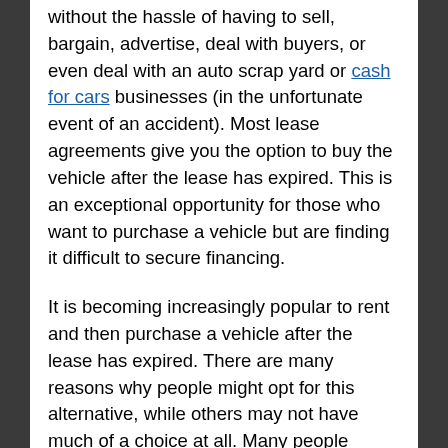without the hassle of having to sell, bargain, advertise, deal with buyers, or even deal with an auto scrap yard or cash for cars businesses (in the unfortunate event of an accident). Most lease agreements give you the option to buy the vehicle after the lease has expired. This is an exceptional opportunity for those who want to purchase a vehicle but are finding it difficult to secure financing.
It is becoming increasingly popular to rent and then purchase a vehicle after the lease has expired. There are many reasons why people might opt for this alternative, while others may not have much of a choice at all. Many people wishing to avoid high interest rates as well as the fees and charges that come with purchasing a vehicle on finance are opting for the rent the vehicle today, own it tomorrow method. This method is particularly advantageous when interest rates can skyrocket by up to 40% p.a. if a person is on the mend from a